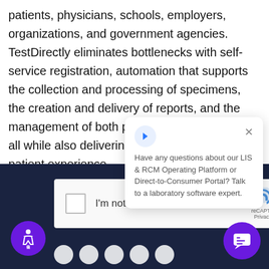patients, physicians, schools, employers, organizations, and government agencies. TestDirectly eliminates bottlenecks with self-service registration, automation that supports the collection and processing of specimens, the creation and delivery of reports, and the management of both payment and compliance, all while also delivering a better and safer patient experience.
[Figure (screenshot): Dark navy section with white text beginning 'please co...' and 'human (a...' partially visible, with a reCAPTCHA widget showing 'I'm not a robot' checkbox]
[Figure (screenshot): Chat popup overlay with blue arrow icon, close X button, and text: 'Have any questions about our LIS & RCM Operating Platform or Direct-to-Consumer Portal? Talk to a laboratory software expert.']
[Figure (screenshot): Accessibility icon button (purple circle, wheelchair symbol) at bottom left and chat button (purple circle) at bottom right]